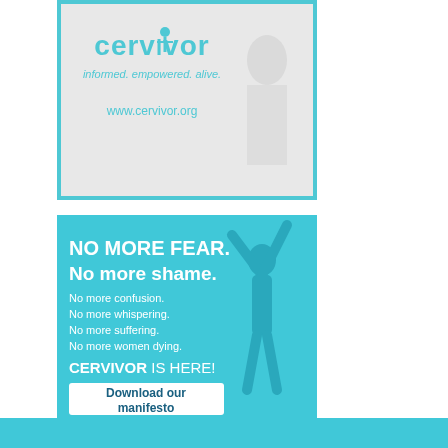[Figure (photo): White t-shirt with 'cervivor informed. empowered. alive.' logo and www.cervivor.org text, with teal border frame]
[Figure (illustration): Teal banner with white text: NO MORE FEAR. No more shame. No more confusion. No more whispering. No more suffering. No more women dying. CERVIVOR IS HERE! with a white button saying 'Download our manifesto' and a silhouette of a woman with arms raised]
[Figure (other): Teal horizontal bar at bottom of page]